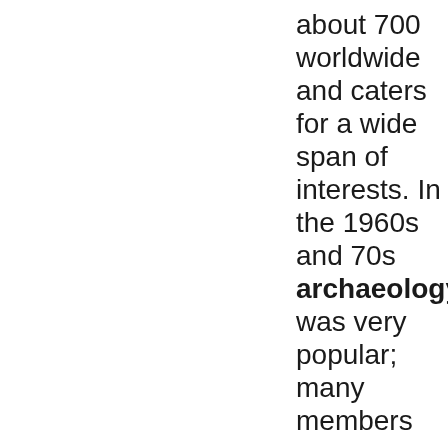about 700 worldwide and caters for a wide span of interests. In the 1960s and 70s archaeology was very popular; many members were diggers and researchers. The 1970s and 80s witnessed the birth and huge expansion of family history studies leading to a new